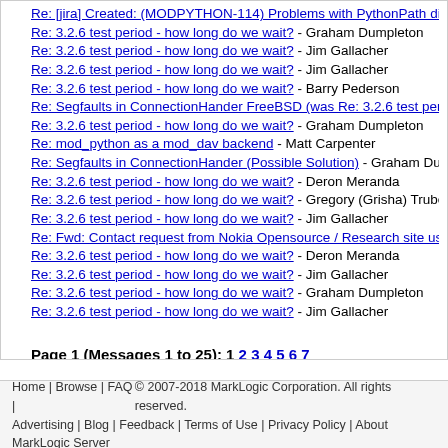Re: [jira] Created: (MODPYTHON-114) Problems with PythonPath dire
Re: 3.2.6 test period - how long do we wait? - Graham Dumpleton
Re: 3.2.6 test period - how long do we wait? - Jim Gallacher
Re: 3.2.6 test period - how long do we wait? - Jim Gallacher
Re: 3.2.6 test period - how long do we wait? - Barry Pederson
Re: Segfaults in ConnectionHander FreeBSD (was Re: 3.2.6 test perio
Re: 3.2.6 test period - how long do we wait? - Graham Dumpleton
Re: mod_python as a mod_dav backend - Matt Carpenter
Re: Segfaults in ConnectionHander (Possible Solution) - Graham Dump
Re: 3.2.6 test period - how long do we wait? - Deron Meranda
Re: 3.2.6 test period - how long do we wait? - Gregory (Grisha) Trubets
Re: 3.2.6 test period - how long do we wait? - Jim Gallacher
Re: Fwd: Contact request from Nokia Opensource / Research site user
Re: 3.2.6 test period - how long do we wait? - Deron Meranda
Re: 3.2.6 test period - how long do we wait? - Jim Gallacher
Re: 3.2.6 test period - how long do we wait? - Graham Dumpleton
Re: 3.2.6 test period - how long do we wait? - Jim Gallacher
Page 1 (Messages 1 to 25): 1 2 3 4 5 6 7
Home | Browse | FAQ | © 2007-2018 MarkLogic Corporation. All rights reserved. Advertising | Blog | Feedback | Terms of Use | Privacy Policy | About MarkLogic Server